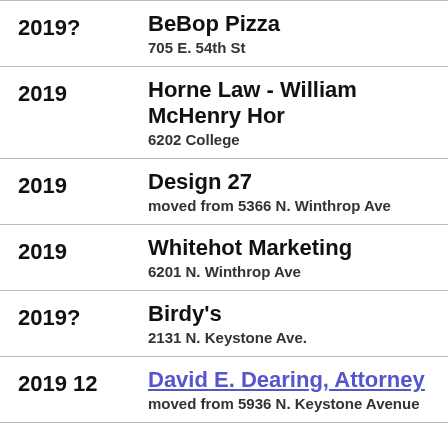2019? | BeBop Pizza | 705 E. 54th St
2019 | Horne Law - William McHenry Hor | 6202 College
2019 | Design 27 | moved from 5366 N. Winthrop Ave
2019 | Whitehot Marketing | 6201 N. Winthrop Ave
2019? | Birdy's | 2131 N. Keystone Ave.
2019 12 | David E. Dearing, Attorney | moved from 5936 N. Keystone Avenue